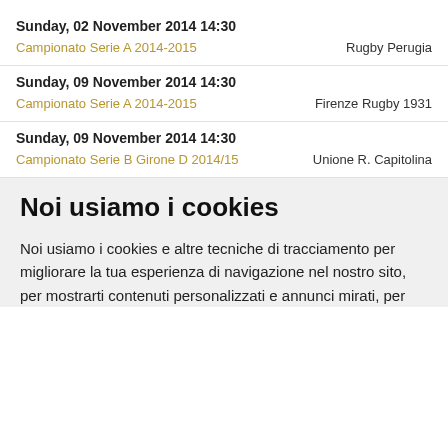Sunday, 02 November 2014 14:30
Campionato Serie A 2014-2015    Rugby Perugia
Sunday, 09 November 2014 14:30
Campionato Serie A 2014-2015    Firenze Rugby 1931
Sunday, 09 November 2014 14:30
Campionato Serie B Girone D 2014/15    Unione R. Capitolina
Noi usiamo i cookies
Noi usiamo i cookies e altre tecniche di tracciamento per migliorare la tua esperienza di navigazione nel nostro sito, per mostrarti contenuti personalizzati e annunci mirati, per